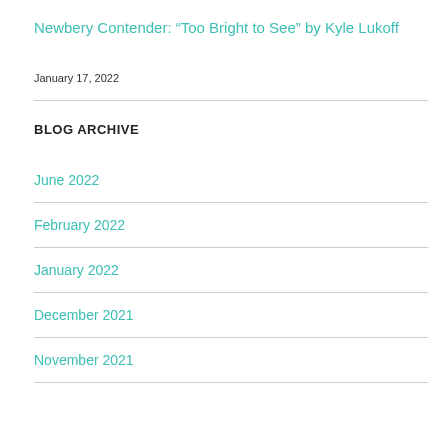Newbery Contender: “Too Bright to See” by Kyle Lukoff
January 17, 2022
BLOG ARCHIVE
June 2022
February 2022
January 2022
December 2021
November 2021